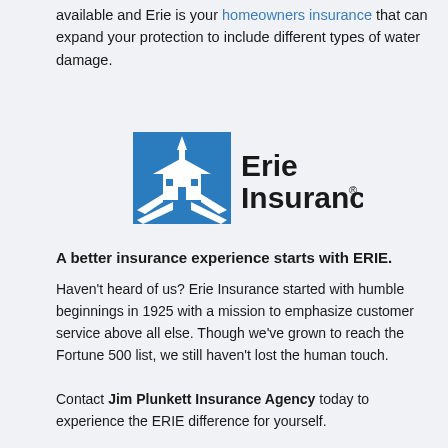available and Erie is your homeowners insurance that can expand your protection to include different types of water damage.
[Figure (logo): Erie Insurance logo — blue building/steeple icon on left, 'Erie Insurance' text on right with registered trademark symbol]
A better insurance experience starts with ERIE.
Haven't heard of us? Erie Insurance started with humble beginnings in 1925 with a mission to emphasize customer service above all else. Though we've grown to reach the Fortune 500 list, we still haven't lost the human touch.
Contact Jim Plunkett Insurance Agency today to experience the ERIE difference for yourself.